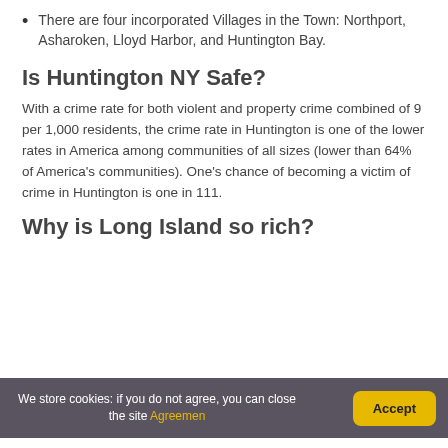There are four incorporated Villages in the Town: Northport, Asharoken, Lloyd Harbor, and Huntington Bay.
Is Huntington NY Safe?
With a crime rate for both violent and property crime combined of 9 per 1,000 residents, the crime rate in Huntington is one of the lower rates in America among communities of all sizes (lower than 64% of America's communities). One's chance of becoming a victim of crime in Huntington is one in 111.
Why is Long Island so rich?
We store cookies: if you do not agree, you can close the site Agreemen